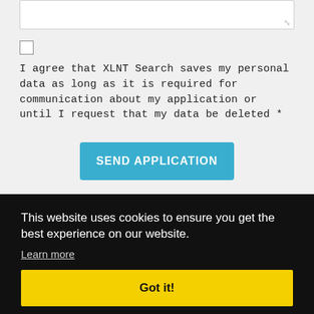I agree that XLNT Search saves my personal data as long as it is required for communication about my application or until I request that my data be deleted *
SEND APPLICATION
This website uses cookies to ensure you get the best experience on our website.
Learn more
Got it!